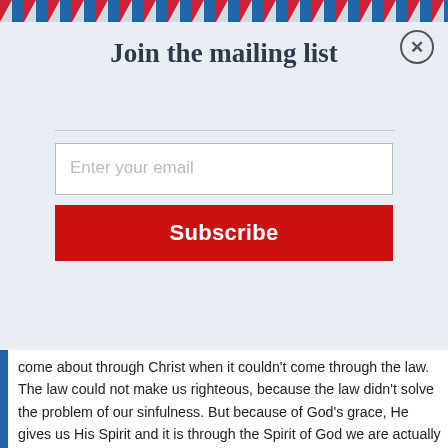[Figure (other): Diagonal red and blue striped border at top of modal]
Join the mailing list
Enter your email
Subscribe
come about through Christ when it couldn’t come through the law.  The law could not make us righteous, because the law didn’t solve the problem of our sinfulness.  But because of God’s grace, He gives us His Spirit and it is through the Spirit of God we are actually made righteous.
Romans 8:12-39 is an exhortation against legalism, Paul is encouraging the Romans to give up the mentality of seeking to be sanctified through our own resources.  The point of the section is that we should seek holiness through trusting in God, not through trusting in our own resources, self-discipline, and ...